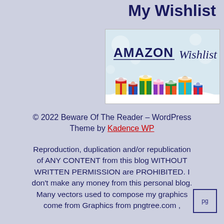My Wishlist
[Figure (illustration): Amazon Wishlist banner image with colorful gift boxes in snow and 'AMAZON Wishlist' text]
© 2022 Beware Of The Reader – WordPress Theme by Kadence WP
Reproduction, duplication and/or republication of ANY CONTENT from this blog WITHOUT WRITTEN PERMISSION are PROHIBITED. I don't make any money from this personal blog. Many vectors used to compose my graphics come from Graphics from pngtree.com ,